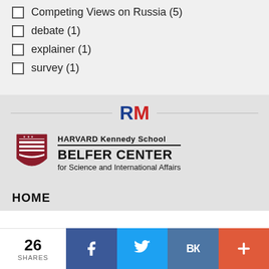Competing Views on Russia (5)
debate (1)
explainer (1)
survey (1)
[Figure (logo): RM logo with R in blue and M in red]
[Figure (logo): Harvard Kennedy School Belfer Center for Science and International Affairs shield logo]
HOME
26 SHARES | Facebook | Twitter | VK | More